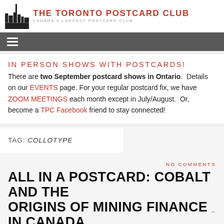THE TORONTO POSTCARD CLUB — CANADA'S LARGEST POSTCARD CLUB
IN PERSON SHOWS WITH POSTCARDS! There are two September postcard shows in Ontario. Details on our EVENTS page. For your regular postcard fix, we have ZOOM MEETINGS each month except in July/August. Or, become a TPC Facebook friend to stay connected!
TAG: COLLOTYPE
NO COMMENTS
ALL IN A POSTCARD: COBALT AND THE ORIGINS OF MINING FINANCE IN CANADA